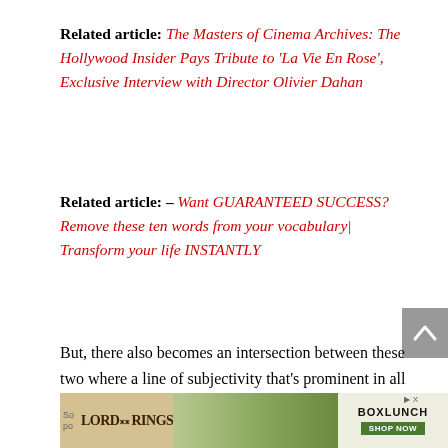Related article: The Masters of Cinema Archives: The Hollywood Insider Pays Tribute to ‘La Vie En Rose’, Exclusive Interview with Director Olivier Dahan
Related article: – Want GUARANTEED SUCCESS? Remove these ten words from your vocabulary| Transform your life INSTANTLY
But, there also becomes an intersection between these two where a line of subjectivity that’s prominent in all films comes into play.
[Figure (other): Advertisement banner for Lord of the Rings merchandise at BoxLunch]